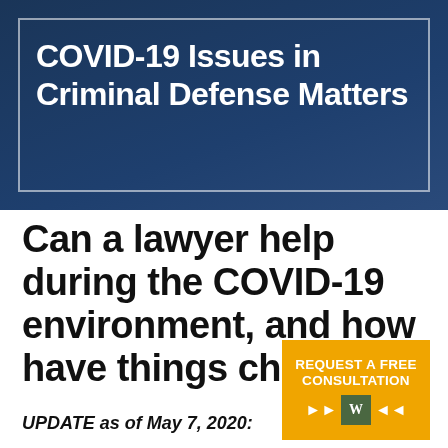[Figure (illustration): Dark navy blue header banner with white border and bold white text reading 'COVID-19 Issues in Criminal Defense Matters']
Can a lawyer help during the COVID-19 environment, and how have things cha
[Figure (infographic): Orange button/box with text 'REQUEST A FREE CONSULTATION' and media player icons with a green W badge]
UPDATE as of May 7, 2020: